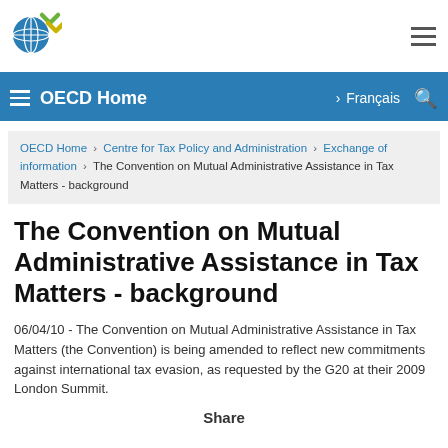[Figure (logo): OECD logo with globe and chevron marks]
OECD Home  Français
OECD Home › Centre for Tax Policy and Administration › Exchange of information › The Convention on Mutual Administrative Assistance in Tax Matters - background
The Convention on Mutual Administrative Assistance in Tax Matters - background
06/04/10 - The Convention on Mutual Administrative Assistance in Tax Matters (the Convention) is being amended to reflect new commitments against international tax evasion, as requested by the G20 at their 2009 London Summit.
Share